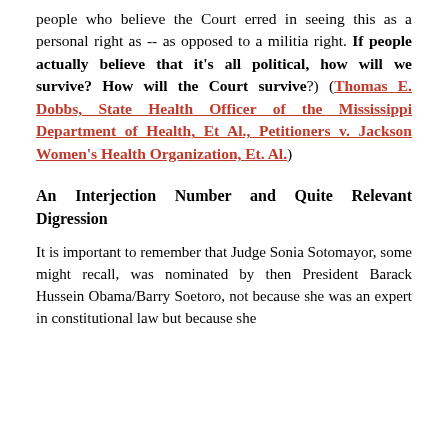people who believe the Court erred in seeing this as a personal right as -- as opposed to a militia right. If people actually believe that it's all political, how will we survive? How will the Court survive?) (Thomas E. Dobbs, State Health Officer of the Mississippi Department of Health, Et Al., Petitioners v. Jackson Women's Health Organization, Et. Al.)
An Interjection Number and Quite Relevant Digression
It is important to remember that Judge Sonia Sotomayor, some might recall, was nominated by then President Barack Hussein Obama/Barry Soetoro, not because she was an expert in constitutional law but because she